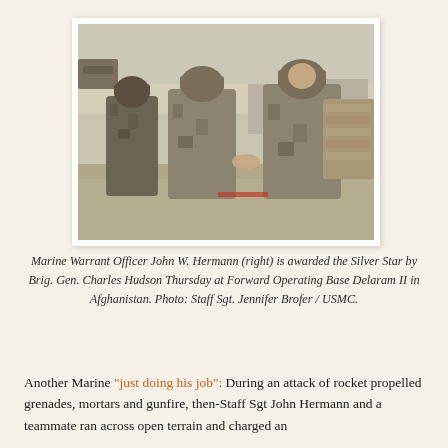[Figure (photo): Three US Marines in desert camouflage uniforms. Marine Warrant Officer John W. Hermann (right) shakes hands with Brig. Gen. Charles Hudson in an outdoor setting at Forward Operating Base Delaram II in Afghanistan. A third Marine stands to the left. Sandy terrain and military structures visible in background.]
Marine Warrant Officer John W. Hermann (right) is awarded the Silver Star by Brig. Gen. Charles Hudson Thursday at Forward Operating Base Delaram II in Afghanistan. Photo: Staff Sgt. Jennifer Brofer / USMC.
Another Marine "just doing his job": During an attack of rocket propelled grenades, mortars and gunfire, then-Staff Sgt John Hermann and a teammate ran across open terrain and charged an enemy element of enemy fighters. See More they were done with